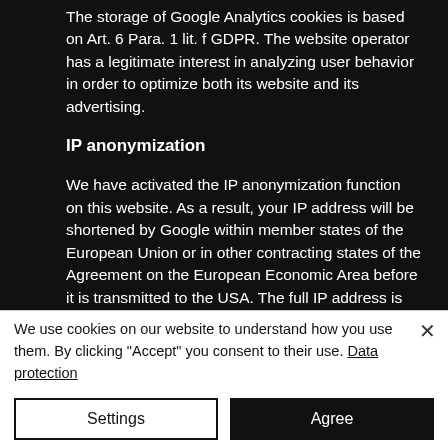The storage of Google Analytics cookies is based on Art. 6 Para. 1 lit. f GDPR. The website operator has a legitimate interest in analyzing user behavior in order to optimize both its website and its advertising.
IP anonymization
We have activated the IP anonymization function on this website. As a result, your IP address will be shortened by Google within member states of the European Union or in other contracting states of the Agreement on the European Economic Area before it is transmitted to the USA. The full IP address is only transmitted to a Google server in the USA
We use cookies on our website to understand how you use them. By clicking "Accept" you consent to their use. Data protection
Settings
Agree